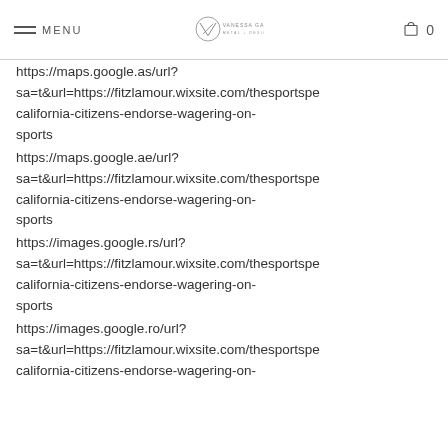MENU | VANESSA GADE METAL + DESIGN | 0
https://maps.google.as/url?sa=t&url=https://fitzlamour.wixsite.com/thesportspe california-citizens-endorse-wagering-on-sports
https://maps.google.ae/url?sa=t&url=https://fitzlamour.wixsite.com/thesportspe california-citizens-endorse-wagering-on-sports
https://images.google.rs/url?sa=t&url=https://fitzlamour.wixsite.com/thesportspe california-citizens-endorse-wagering-on-sports
https://images.google.ro/url?sa=t&url=https://fitzlamour.wixsite.com/thesportspe california-citizens-endorse-wagering-on-